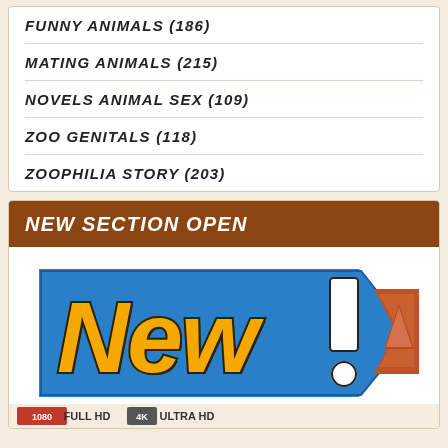FUNNY ANIMALS (186)
MATING ANIMALS (215)
NOVELS ANIMAL SEX (109)
ZOO GENITALS (118)
ZOOPHILIA STORY (203)
NEW SECTION OPEN
[Figure (illustration): Colorful 'New!' graphic badge with yellow bold text on a blue angular background with white exclamation mark, plus an orange upward-arrow chevron icon. Below: partial strip showing '1080' and 'FULL HD' and '4K' and 'ULTRA HD' labels.]